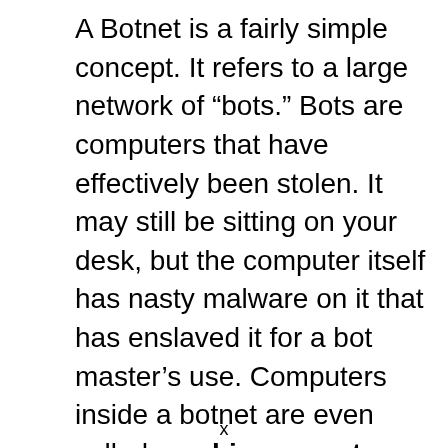A Botnet is a fairly simple concept. It refers to a large network of “bots.” Bots are computers that have effectively been stolen. It may still be sitting on your desk, but the computer itself has nasty malware on it that has enslaved it for a bot master’s use. Computers inside a botnet are even called zombie computers. Hopefully that can help you visualize things a little better.
x